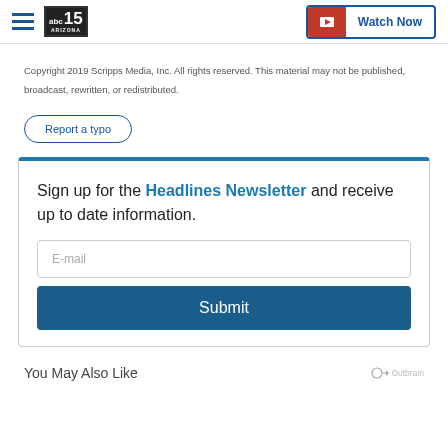ABC15 Arizona — Watch Now header
Copyright 2019 Scripps Media, Inc. All rights reserved. This material may not be published, broadcast, rewritten, or redistributed.
Report a typo
Sign up for the Headlines Newsletter and receive up to date information.
E-mail
Submit
You May Also Like